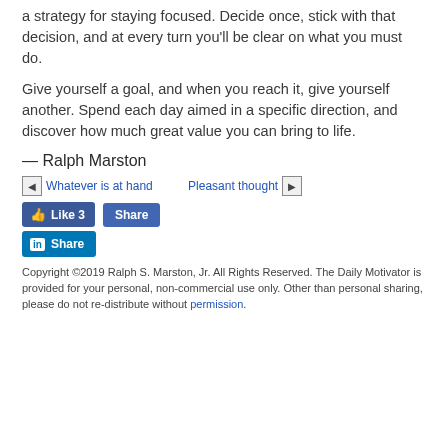a strategy for staying focused. Decide once, stick with that decision, and at every turn you'll be clear on what you must do.
Give yourself a goal, and when you reach it, give yourself another. Spend each day aimed in a specific direction, and discover how much great value you can bring to life.
— Ralph Marston
◄ Whatever is at hand   Pleasant thought ►
[Figure (other): Facebook Like (3) and Share buttons]
[Figure (other): LinkedIn Share button]
Copyright ©2019 Ralph S. Marston, Jr. All Rights Reserved. The Daily Motivator is provided for your personal, non-commercial use only. Other than personal sharing, please do not re-distribute without permission.